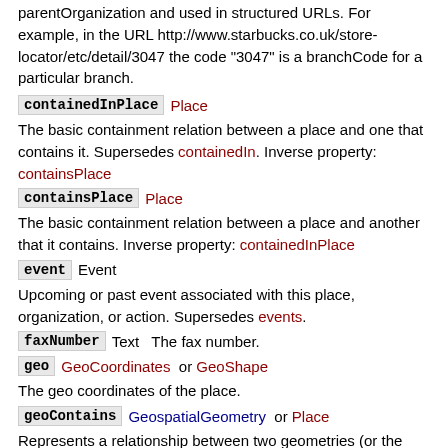parentOrganization and used in structured URLs. For example, in the URL http://www.starbucks.co.uk/store-locator/etc/detail/3047 the code "3047" is a branchCode for a particular branch.
containedInPlace   Place
The basic containment relation between a place and one that contains it. Supersedes containedIn. Inverse property: containsPlace
containsPlace   Place
The basic containment relation between a place and another that it contains. Inverse property: containedInPlace
event   Event
Upcoming or past event associated with this place, organization, or action. Supersedes events.
faxNumber   Text   The fax number.
geo   GeoCoordinates or GeoShape
The geo coordinates of the place.
geoContains   GeospatialGeometry or Place
Represents a relationship between two geometries (or the places they represent), relating a containing geometry to a contained geometry. "a contains b iff no points of b lie in the exterior of a, and at least one point of the interior of b lies in the interior of a". As defined in DE-9IM.
geoCoveredBy   GeospatialGeometry or Place
Represents a relationship between two geometries (or the places they represent), relating a geometry to another that covers it. As